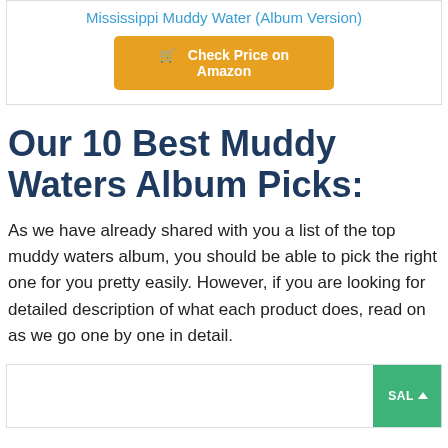Mississippi Muddy Water (Album Version)
Check Price on Amazon
Our 10 Best Muddy Waters Album Picks:
As we have already shared with you a list of the top muddy waters album, you should be able to pick the right one for you pretty easily. However, if you are looking for detailed description of what each product does, read on as we go one by one in detail.